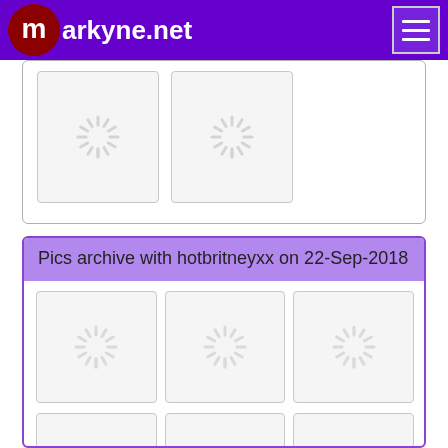markyne.net
[Figure (screenshot): Partial top section showing two loading image placeholders with spinner icons]
Pics archive with hotbritneyxx on 22-Sep-2018
[Figure (screenshot): Grid of 6 loading image placeholders with spinner icons, 3 columns x 2 rows]